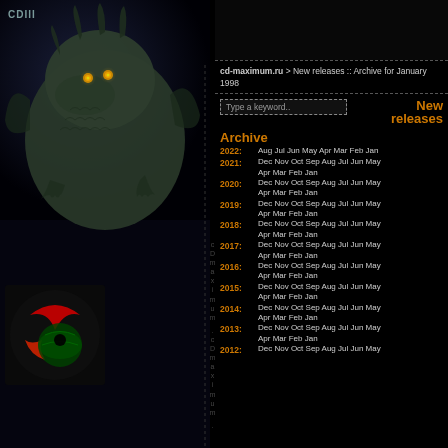[Figure (illustration): Dark fantasy dragon illustration on left panel, with CD logo text 'CDIII' in upper left corner and a red/green CD logo graphic below]
cd-maximum.ru > New releases :: Archive for January 1998
Type a keyword..
New releases
Archive
2022: Aug Jul Jun May Apr Mar Feb Jan
2021: Dec Nov Oct Sep Aug Jul Jun May Apr Mar Feb Jan
2020: Dec Nov Oct Sep Aug Jul Jun May Apr Mar Feb Jan
2019: Dec Nov Oct Sep Aug Jul Jun May Apr Mar Feb Jan
2018: Dec Nov Oct Sep Aug Jul Jun May Apr Mar Feb Jan
2017: Dec Nov Oct Sep Aug Jul Jun May Apr Mar Feb Jan
2016: Dec Nov Oct Sep Aug Jul Jun May Apr Mar Feb Jan
2015: Dec Nov Oct Sep Aug Jul Jun May Apr Mar Feb Jan
2014: Dec Nov Oct Sep Aug Jul Jun May Apr Mar Feb Jan
2013: Dec Nov Oct Sep Aug Jul Jun May Apr Mar Feb Jan
2012: Dec Nov Oct Sep Aug Jul Jun May